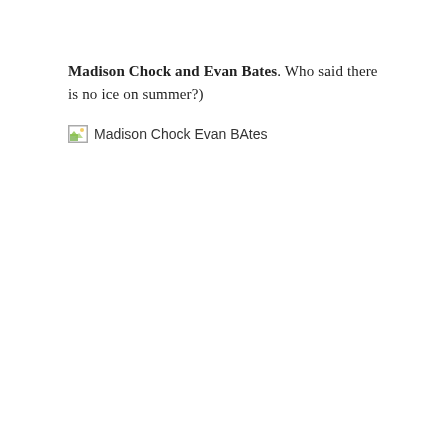Madison Chock and Evan Bates. Who said there is no ice on summer?)
[Figure (photo): Broken image placeholder with alt text 'Madison Chock Evan BAtes']